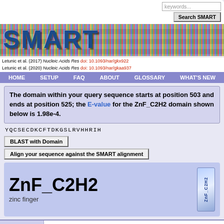[Figure (screenshot): SMART database website header with SMART logo on colorful MSA background, search bar, citation links, navigation bar]
Letunic et al. (2017) Nucleic Acids Res doi: 10.1093/nar/gkx922
Letunic et al. (2020) Nucleic Acids Res doi: 10.1093/nar/gkaa937
The domain within your query sequence starts at position 503 and ends at position 525; the E-value for the ZnF_C2H2 domain shown below is 1.98e-4.
YQCSECDKCFTDKGSLRVHHRIH
BLAST with Domain
Align your sequence against the SMART alignment
ZnF_C2H2
zinc finger
| SMART |  |
| --- | --- |